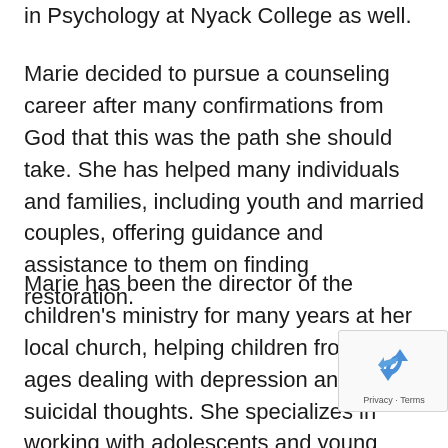in Psychology at Nyack College as well.
Marie decided to pursue a counseling career after many confirmations from God that this was the path she should take. She has helped many individuals and families, including youth and married couples, offering guidance and assistance to them on finding restoration.
Marie has been the director of the children's ministry for many years at her local church, helping children from all ages dealing with depression and suicidal thoughts. She specializes in working with adolescents and young adults who are experiencing trauma, anxiety, depression, in addition to couples experiencing challenges in their marriage. Her experience also includes
[Figure (other): Google reCAPTCHA badge with recycling-style arrow icon and 'Privacy - Terms' text]